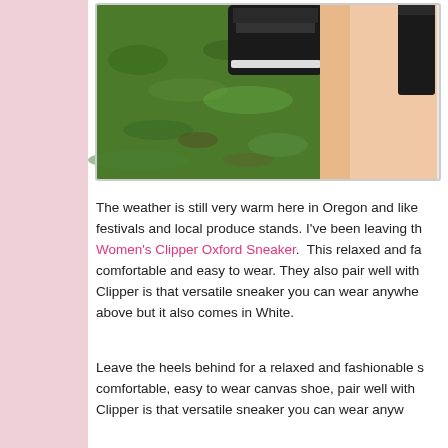[Figure (photo): Close-up photo of a person's leg wearing a dark/black sneaker on green grass, viewed from above. The shoe appears to be a canvas oxford sneaker.]
The weather is still very warm here in Oregon and like festivals and local produce stands. I've been leaving th Women's Clipper Oxford Sneaker.  This relaxed and fa comfortable and easy to wear. They also pair well with Clipper is that versatile sneaker you can wear anywhe above but it also comes in White.
Leave the heels behind for a relaxed and fashionable s comfortable, easy to wear canvas shoe, pair well with Clipper is that versatile sneaker you can wear anyw